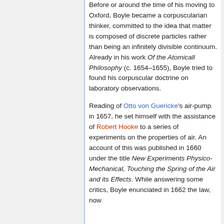Before or around the time of his moving to Oxford, Boyle became a corpuscularian thinker, committed to the idea that matter is composed of discrete particles rather than being an infinitely divisible continuum. Already in his work Of the Atomicall Philosophy (c. 1654–1655), Boyle tried to found his corpuscular doctrine on laboratory observations.
Reading of Otto von Guericke's air-pump in 1657, he set himself with the assistance of Robert Hooke to a series of experiments on the properties of air. An account of this was published in 1660 under the title New Experiments Physico-Mechanical, Touching the Spring of the Air and its Effects. While answering some critics, Boyle enunciated in 1662 the law, now